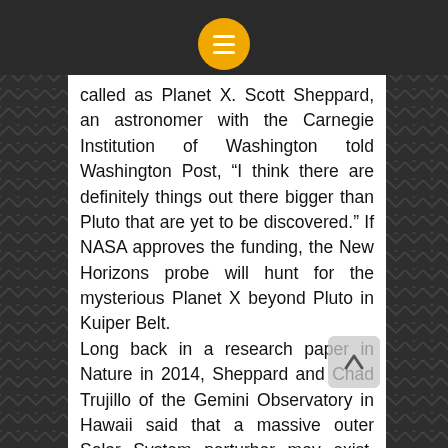[menu icon]
called as Planet X. Scott Sheppard, an astronomer with the Carnegie Institution of Washington told Washington Post, “I think there are definitely things out there bigger than Pluto that are yet to be discovered.” If NASA approves the funding, the New Horizons probe will hunt for the mysterious Planet X beyond Pluto in Kuiper Belt. Long back in a research paper in Nature in 2014, Sheppard and Chad Trujillo of the Gemini Observatory in Hawaii said that a massive outer Solar System perturber may exist. This discovery in the report turned out to be the dwarf planet 2012 VP113 that’s much deeper into space. This new